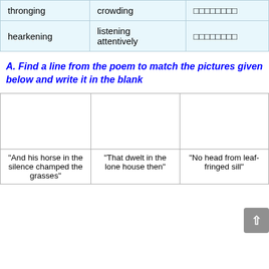|  |  |  |
| --- | --- | --- |
| thronging | crowding | □□□□□□□□ |
| hearkening | listening attentively | □□□□□□□□ |
A. Find a line from the poem to match the pictures given below and write it in the blank
| [image] | [image] | [image] |
| --- | --- | --- |
| “And his horse in the silence champed the grasses” | “That dwelt in the lone house then” | “No head from leaf-fringed sill” |